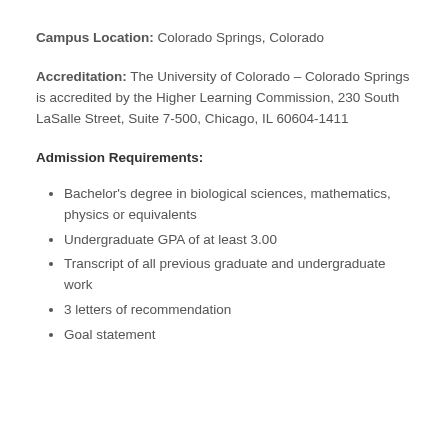Campus Location: Colorado Springs, Colorado
Accreditation: The University of Colorado – Colorado Springs is accredited by the Higher Learning Commission, 230 South LaSalle Street, Suite 7-500, Chicago, IL 60604-1411
Admission Requirements:
Bachelor's degree in biological sciences, mathematics, physics or equivalents
Undergraduate GPA of at least 3.00
Transcript of all previous graduate and undergraduate work
3 letters of recommendation
Goal statement